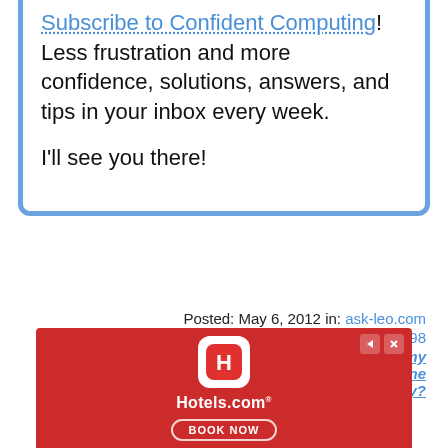Do this
Subscribe to Confident Computing! Less frustration and more confidence, solutions, answers, and tips in your inbox every week.

I'll see you there!
Posted: May 6, 2012 in: ask-leo.com
Shortlink: https://askleo.com/5298
« Previous post: How do I remove my personal information from a machine before giving it away?
[Figure (other): Hotels.com advertisement banner with red background, Hotels.com logo icon, and Book Now button]